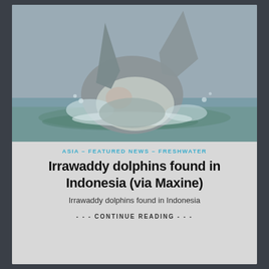[Figure (photo): An Irrawaddy dolphin breaching the water surface, showing its gray body and fins, with water splashing around it. The background is a grayish-green water surface.]
ASIA – FEATURED NEWS – FRESHWATER
Irrawaddy dolphins found in Indonesia (via Maxine)
Irrawaddy dolphins found in Indonesia
- - - CONTINUE READING - - -